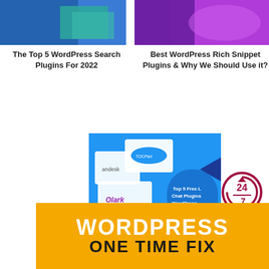[Figure (screenshot): Blue/teal abstract graphic for Top 5 WordPress Search Plugins article]
The Top 5 WordPress Search Plugins For 2022
[Figure (screenshot): Purple/magenta abstract graphic for Best WordPress Rich Snippet Plugins article]
Best WordPress Rich Snippet Plugins & Why We Should Use it?
[Figure (screenshot): Blue background with plugin logos: andesk, TOC Pad, Olark; text: Top 5 Free Live Chat Plugins for WordPress]
Top 5 Free Live Chat Plugins for WordPress in 2022
[Figure (logo): 24/7 clock icon in dark red/maroon]
[Figure (infographic): Orange banner with white WORDPRESS text and dark ONE TIME FIX text]